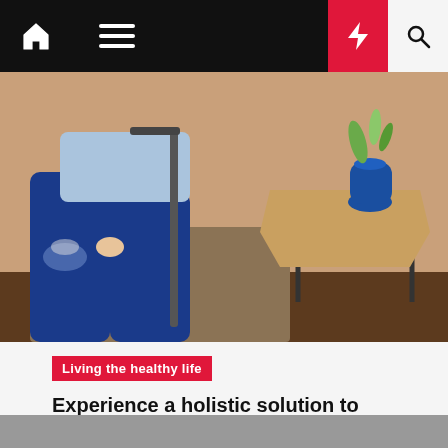Navigation bar with home, menu, moon, lightning, and search icons
[Figure (photo): Close-up photo of a person sitting with ripped jeans holding a walking aid or cane, with a side table and blue vase in the background]
Living the healthy life
Experience a holistic solution to care at Optimal Health and Wellness
wafijr  2 years ago